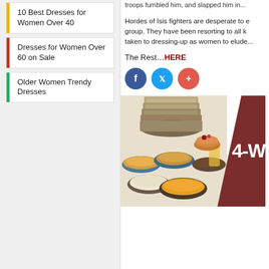10 Best Dresses for Women Over 40
Dresses for Women Over 60 on Sale
Older Women Trendy Dresses
troops fumbled him, and slapped him in...
Hordes of Isis fighters are desperate to escape the group. They have been resorting to all kinds of taken to dressing-up as women to elude...
The Rest…HERE
[Figure (other): Social share icons: Facebook (blue circle), Twitter (cyan circle), plus/add button (red circle)]
[Figure (photo): Advertisement showing food bowls and dishes with a brown triangle panel on the right showing '4-W' text]